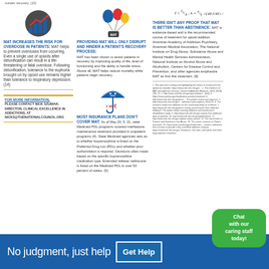sustain recovery. (10)
[Figure (illustration): Icon showing bar chart with upward arrow - representing overdose risk increase]
MAT INCREASES THE RISK FOR OVERDOSE IN PATIENTS:
MAT helps to prevent overdoses from occurring. Even a single use of opioids after detoxification can result in a life-threatening or fatal overdose. Following detoxification, tolerance to the euphoria brought on by opioid use remains higher than tolerance to respiratory depression. (14)
[Figure (illustration): Colorful balloons with MAT label - representing disruption to recovery process]
PROVIDING MAT WILL ONLY DISRUPT AND HINDER A PATIENT'S RECOVERY PROCESS:
MAT has been shown to assist patients in recovery by improving quality of life, level of functioning and the ability to handle stress. Above all, MAT helps reduce mortality while patients begin recovery.
[Figure (illustration): Math equations - representing scientific evidence]
THERE ISN'T ANY PROOF THAT MAT IS BETTER THAN ABSTINENCE:
MAT is evidence-based and is the recommended course of treatment for opioid addiction. American Academy of Addiction Psychiatry, American Medical Association, The National Institute on Drug Abuse, Substance Abuse and Mental Health Services Administration, National Institute on Alcohol Abuse and Alcoholism, Centers for Disease Control and Prevention, and other agencies emphasize MAT as first line treatment. (8)
[Figure (illustration): Umbrella with MAT text - representing insurance coverage for MAT]
MOST INSURANCE PLANS DON'T COVER MAT:
As of May 20, 5, 21, state Medicaid PDL programs covered methadone maintenance treatment provided in outpatient programs (4). State Medicaid agencies sets as to whether buprenorphine is listed on the Preferred Drug List (PDL) and whether prior authorization is required. Decisions often made based on the specific buprenorphine medication type. Extended release naltrexone is listed on the Medicaid PDL in over 50 percent of states. (5)
FOR MORE INFORMATION, PLEASE CONTACT NICK SZUBIAK, DIRECTOR, CLINICAL EXCELLENCE IN ADDICTIONS, AT NICKS@THENATIONALCOUNCIL.ORG
References block with citations 1-17
No judgment, just help
Get Help
Chat with our caring staff today!